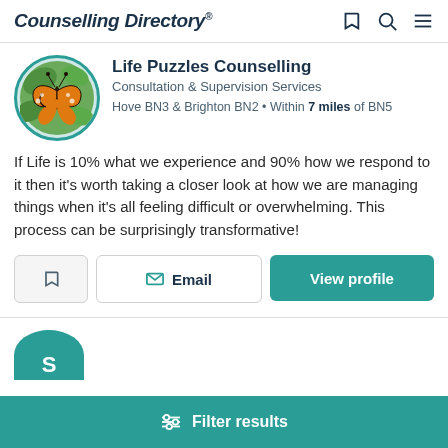Counselling Directory
[Figure (photo): Circular profile photo of a monarch butterfly on green foliage, bordered with teal circle]
Life Puzzles Counselling
Consultation & Supervision Services
Hove BN3 & Brighton BN2 • Within 7 miles of BN5
If Life is 10% what we experience and 90% how we respond to it then it's worth taking a closer look at how we are managing things when it's all feeling difficult or overwhelming. This process can be surprisingly transformative!
Filter results